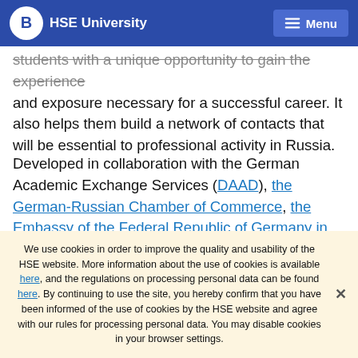HSE University | Menu
students with a unique opportunity to gain the experience and exposure necessary for a successful career. It also helps them build a network of contacts that will be essential to professional activity in Russia.
Developed in collaboration with the German Academic Exchange Services (DAAD), the German-Russian Chamber of Commerce, the Embassy of the Federal Republic of Germany in Moscow and Nuffic Neso Russia. HSE's Doing Business in Russia programme
We use cookies in order to improve the quality and usability of the HSE website. More information about the use of cookies is available here, and the regulations on processing personal data can be found here. By continuing to use the site, you hereby confirm that you have been informed of the use of cookies by the HSE website and agree with our rules for processing personal data. You may disable cookies in your browser settings.